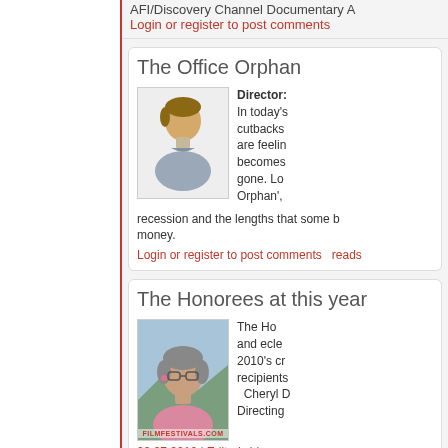AFI/Discovery Channel Documentary A
Login or register to post comments
The Office Orphan
[Figure (illustration): Generic user avatar icon - silhouette of a person in gray and blue tones]
Director: In today's cutbacks are feeling becomes gone. Login Orphan', recession and the lengths that some b money.
Login or register to post comments reads
The Honorees at this year
[Figure (photo): Photo of a woman with short gray hair wearing glasses and a pink shirt, with mountains/water in background. Watermark: FILMFESTIVALS.COM]
The Honorees and eclectic 2010's cr recipients Cheryl D Directing
02.07.2010 | Editor's blog